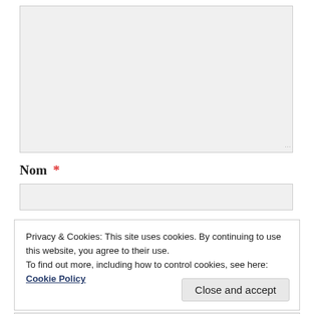[Figure (screenshot): Large empty text area input field with light gray background and resize handle in bottom-right corner]
Nom *
[Figure (screenshot): Single-line text input field for name, light gray background]
Privacy & Cookies: This site uses cookies. By continuing to use this website, you agree to their use.
To find out more, including how to control cookies, see here:
Cookie Policy
Close and accept